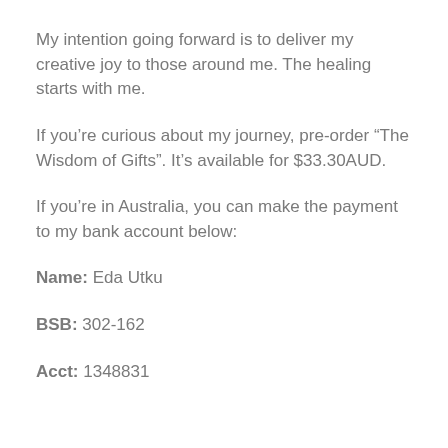My intention going forward is to deliver my creative joy to those around me. The healing starts with me.
If you’re curious about my journey, pre-order “The Wisdom of Gifts”. It’s available for $33.30AUD.
If you’re in Australia, you can make the payment to my bank account below:
Name: Eda Utku
BSB: 302-162
Acct: 1348831